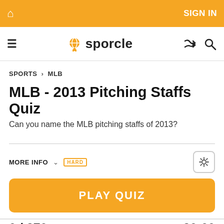SIGN IN
[Figure (logo): Sporcle logo with globe icon]
SPORTS > MLB
MLB - 2013 Pitching Staffs Quiz
Can you name the MLB pitching staffs of 2013?
MORE INFO
PLAY QUIZ
0 / 270
20:00